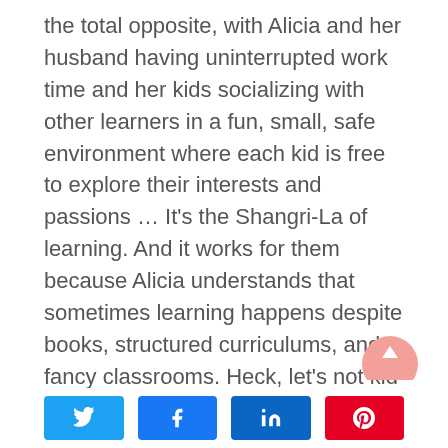the total opposite, with Alicia and her husband having uninterrupted work time and her kids socializing with other learners in a fun, small, safe environment where each kid is free to explore their interests and passions … It's the Shangri-La of learning. And it works for them because Alicia understands that sometimes learning happens despite books, structured curriculums, and fancy classrooms. Heck, let's not kid ourselves: It's probably more likely to happen when those things aren't present. In short, learning can happen everywhere.